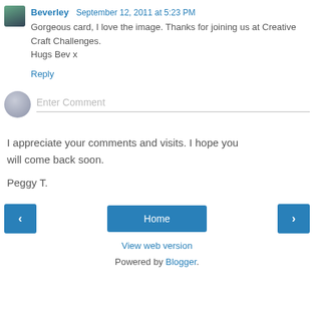Beverley September 12, 2011 at 5:23 PM
Gorgeous card, I love the image. Thanks for joining us at Creative Craft Challenges.
Hugs Bev x
Reply
Enter Comment
I appreciate your comments and visits. I hope you will come back soon.

Peggy T.
Home
View web version
Powered by Blogger.